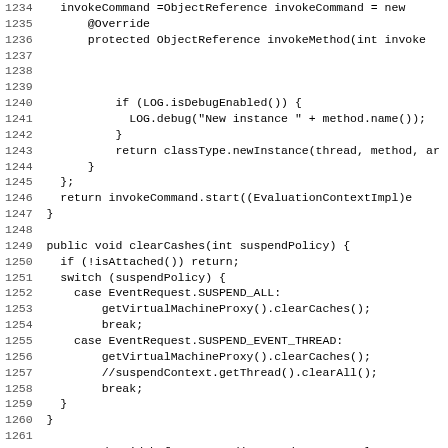Source code listing lines 1234-1266, Java code showing invokeMethod, clearCaches, beforeSuspend, and beforeMethodInvocation methods